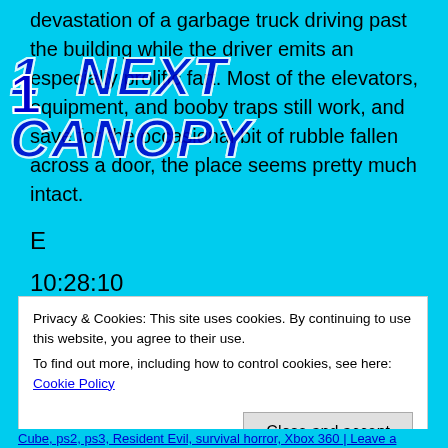devastation of a garbage truck driving past the building while the driver emits an especially prolific fart. Most of the elevators, equipment, and booby traps still work, and save for the occasional bit of rubble fallen across a door, the place seems pretty much intact.
[Figure (screenshot): Overlay banner with '1 NEXT CANOPY' text in large bold italic blue letters with white outline over cyan background]
E
10:28:10
38 saves 48 retries
Privacy & Cookies: This site uses cookies. By continuing to use this website, you agree to their use.
To find out more, including how to control cookies, see here: Cookie Policy

Close and accept
Cube, ps2, ps3, Resident Evil, survival horror, Xbox 360 | Leave a